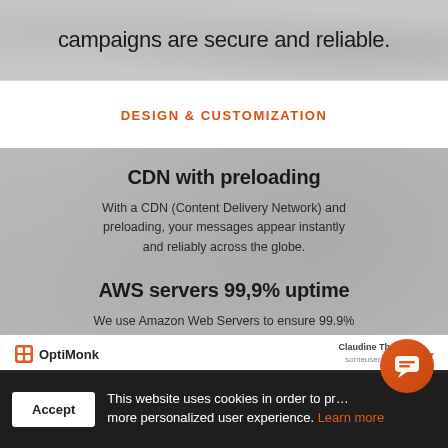campaigns are secure and reliable.
DESIGN & CUSTOMIZATION
CDN with preloading
With a CDN (Content Delivery Network) and preloading, your messages appear instantly and reliably across the globe.
AWS servers 99,9% uptime
We use Amazon Web Servers to ensure 99.9% uptime for your campaigns, so you never miss a lead.
[Figure (logo): OptiMonk logo with grid icon]
Claudine Thompson
someuser@gmail.com
0,000 / 1,200,000   402,911/450
This website uses cookies in order to provide a more personalized user experience. Learn more
Accept